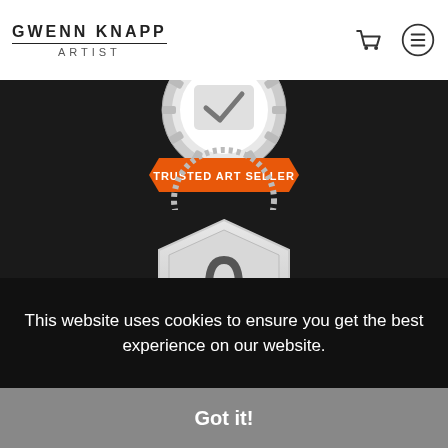GWENN KNAPP ARTIST
[Figure (illustration): Trusted Art Seller badge with orange ribbon banner and gear border at top]
[Figure (illustration): Verified Secure Website SSL Encrypted badge - silver shield with padlock icon and orange ribbon banner at bottom]
This website uses cookies to ensure you get the best experience on our website.
Got it!